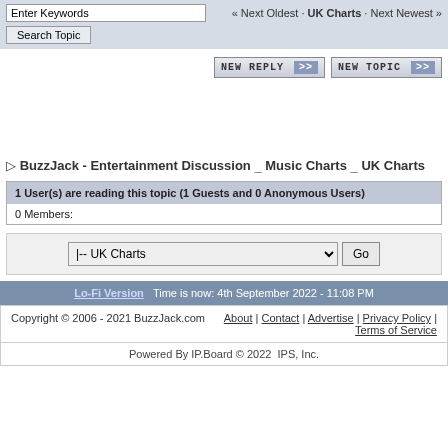Enter Keywords | « Next Oldest · UK Charts · Next Newest »
Search Topic
NEW REPLY >> NEW TOPIC >>
▷ BuzzJack - Entertainment Discussion _ Music Charts _ UK Charts
1 User(s) are reading this topic (1 Guests and 0 Anonymous Users)
0 Members:
|-- UK Charts   Go
Lo-Fi Version  Time is now: 4th September 2022 - 11:08 PM
Copyright © 2006 - 2021 BuzzJack.com   About | Contact | Advertise | Privacy Policy | Terms of Service
Powered By IP.Board © 2022  IPS, Inc.